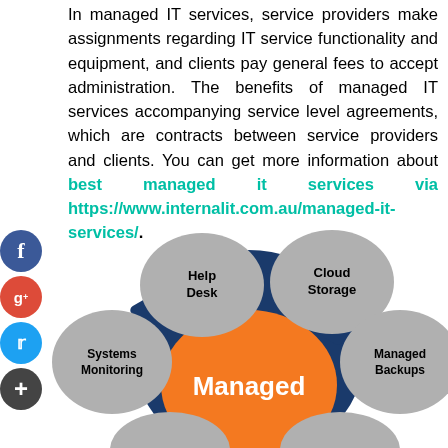In managed IT services, service providers make assignments regarding IT service functionality and equipment, and clients pay general fees to accept administration. The benefits of managed IT services accompanying service level agreements, which are contracts between service providers and clients. You can get more information about best managed it services via https://www.internalit.com.au/managed-it-services/.
[Figure (infographic): Circular infographic showing managed IT services components: Help Desk, Cloud Storage, Systems Monitoring, Managed Backups arranged around a central dark blue gear/hexagon shape with a large orange circle in the center labeled 'Managed'. Social media icons (Facebook, Google+, Twitter, Add) appear on the left side.]